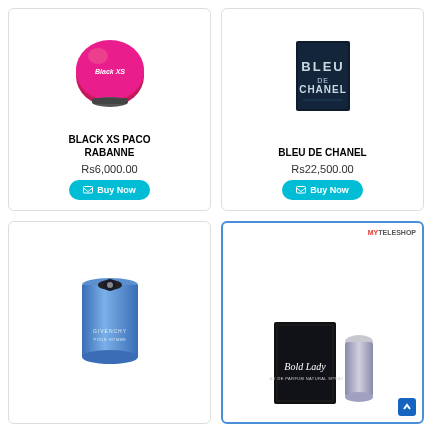[Figure (photo): Pink/magenta spherical Black XS Paco Rabanne perfume bottle]
BLACK XS PACO RABANNE
Rs6,000.00
[Figure (photo): Dark navy box of Bleu de Chanel perfume]
BLEU DE CHANEL
Rs22,500.00
[Figure (photo): Blue cylindrical Givenchy Pour Homme perfume bottle]
[Figure (photo): Bold Lady perfume product with box and bottle, MyTeleshop branding]